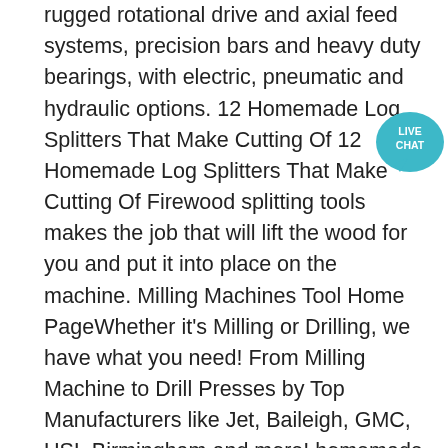rugged rotational drive and axial feed systems, precision bars and heavy duty bearings, with electric, pneumatic and hydraulic options. 12 Homemade Log Splitters That Make Cutting Of 12 Homemade Log Splitters That Make Cutting Of Firewood splitting tools makes the job that will lift the wood for you and put it into place on the machine. Milling Machines Tool Home PageWhether it's Milling or Drilling, we have what you need! From Milling Machine to Drill Presses by Top Manufacturers like Jet, Baileigh, GMC, USI, Birmingham and more! homemade hydraulic motor homemade hydraulic motor; homemade hydraulic motor. DIY Knifemaker's Info Center: BG 272 DIY 2 x 72" Belt Grinder. Murphy's Machines Tools and Powerpacks > Hydraulic drills The Hydraulic Powered Magnetic Drill is designed and developed for the particular needs of underwater engineering specialists, this unique machine uses hydraulic power and a special mechanically switched magnet to bring the accuracy and performance of bench drills to underwater work pieces.
[Figure (infographic): Live chat bubble icon — circular teal/blue badge with speech bubble graphic and white text 'LIVE CHAT']